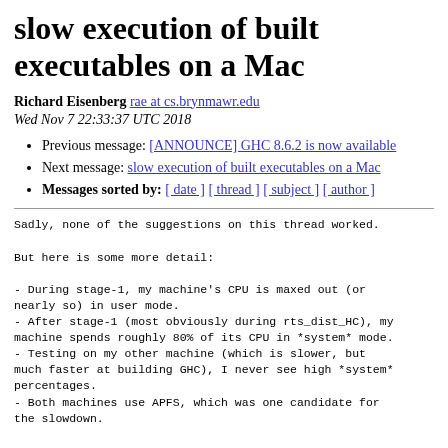slow execution of built executables on a Mac
Richard Eisenberg rae at cs.brynmawr.edu
Wed Nov 7 22:33:37 UTC 2018
Previous message: [ANNOUNCE] GHC 8.6.2 is now available
Next message: slow execution of built executables on a Mac
Messages sorted by: [ date ] [ thread ] [ subject ] [ author ]
Sadly, none of the suggestions on this thread worked.

But here is some more detail:

- During stage-1, my machine's CPU is maxed out (or
nearly so) in user mode.
- After stage-1 (most obviously during rts_dist_HC), my
machine spends roughly 80% of its CPU in *system* mode.
- Testing on my other machine (which is slower, but
much faster at building GHC), I never see high *system*
percentages.
- Both machines use APFS, which was one candidate for
the slowdown.